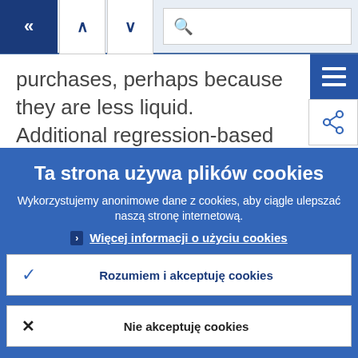[Figure (screenshot): Navigation bar with back button (dark blue with double left chevron), up and down arrow buttons, and a search bar with magnifying glass icon]
purchases, perhaps because they are less liquid. Additional regression-based estimates show that financial
[Figure (other): Hamburger menu button (three horizontal lines, blue background) and share/network icon button]
Ta strona używa plików cookies
Wykorzystujemy anonimowe dane z cookies, aby ciągle ulepszać naszą stronę internetową.
› Więcej informacji o użyciu cookies
✓ Rozumiem i akceptuję cookies
✕ Nie akceptuję cookies